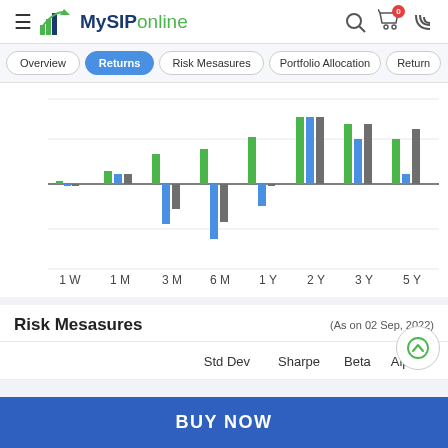MySIPonline
Overview | Returns (active) | Risk Mesasures | Portfolio Allocation | Return...
[Figure (grouped-bar-chart): Returns Chart]
Risk Mesasures
(As on 02 Sep, 2022)
| Std Dev | Sharpe | Beta | Alpha |
| --- | --- | --- | --- |
BUY NOW